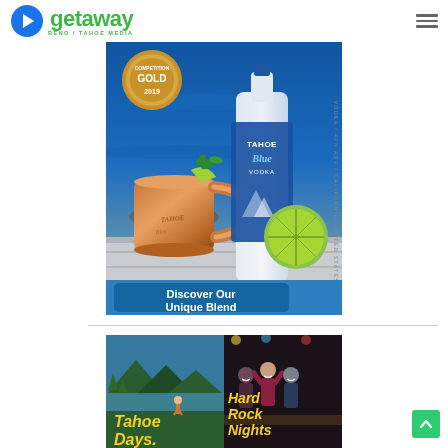getaway RENO / TAHOE MEDIA
[Figure (photo): Tahoe Blue Vodka advertisement showing a copper Moscow Mule mug, a bottle of Tahoe Blue Vodka against a blue lake background, lime slices, gold Competition medal 2019, and a blue button reading 'Discover Our Unique Blend']
[Figure (photo): Hard Rock advertisement showing Lake Tahoe mountain scenery on the left with text 'Tahoe Days.' and people celebrating at a nightclub on the right with text 'Hard Rock Nights']